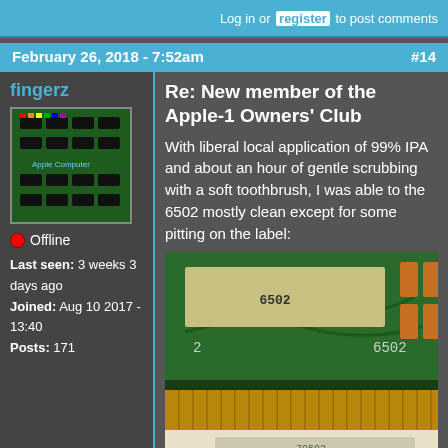Log in or register to post comments
February 26, 2018 - 7:52am  #14
fingerz
[Figure (photo): Profile avatar showing an Apple-1 computer circuit board with chips and components on green PCB]
Offline
Last seen: 3 weeks 3 days ago
Joined: Aug 10 2017 - 13:40
Posts: 171
Re: New member of the Apple-1 Owners' Club
With liberal local application of 99% IPA and about an hour of gentle scrubbing with a soft toothbrush, I was able to the 6502 mostly clean except for some pitting on the label:
[Figure (photo): Close-up photo of a 6502 chip on a green circuit board with gold connector pins visible at the bottom]